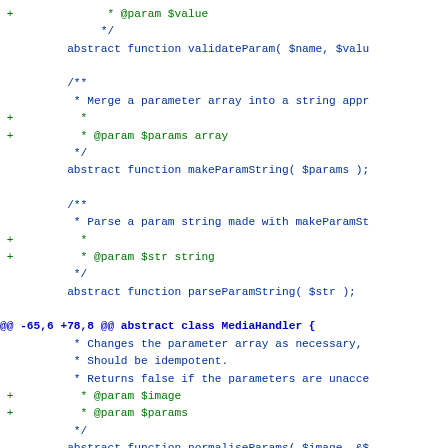Code diff showing PHP abstract class MediaHandler methods including validateParam, makeParamString, parseParamString, and normaliseParams with added @param documentation lines and hunk headers.